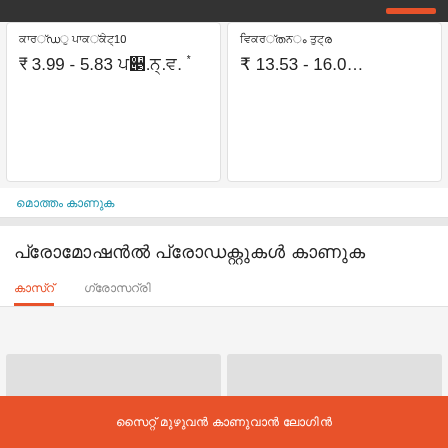₹ 3.99 - 5.83 □□□ *
₹ 13.53 - 16.0…
□□□□□ □□□□□
□□□□□□□□□ □□□□□□□□□ □□□□□
□□□□□□  □□□□□□□
[Figure (screenshot): Two product image placeholder cards (grey rectangles) in a grid layout below tabs]
□□□□ □□□□□ □□□□□□□ □□□□